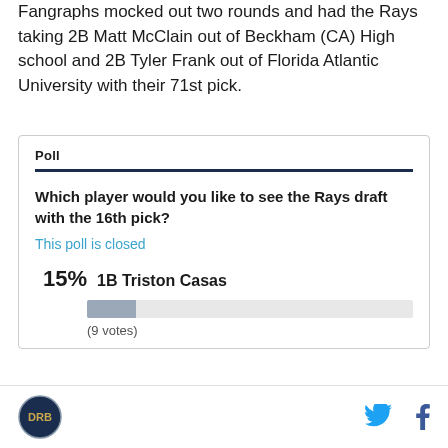Fangraphs mocked out two rounds and had the Rays taking 2B Matt McClain out of Beckham (CA) High school and 2B Tyler Frank out of Florida Atlantic University with their 71st pick.
Poll
Which player would you like to see the Rays draft with the 16th pick?
This poll is closed
[Figure (bar-chart): Poll results]
(9 votes)
DRB logo | Twitter | Facebook